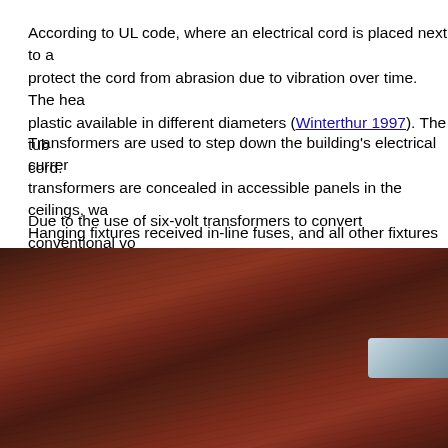According to UL code, where an electrical cord is placed next to a protect the cord from abrasion due to vibration over time. The hea plastic available in different diameters (Winterthur 1997). The tub cord.
Transformers are used to step down the building's electrical currer transformers are concealed in accessible panels in the ceilings, wa Hanging fixtures received in-line fuses, and all other fixtures recei
Due to the use of six-volt transformers to convert conventional vo Had the wires been attached to the transformers, movement of the see page 451). One-half of the Jones plug is soldered onto the cord halves and just as easily clicks back together. This easy assembly a
[Figure (photo): Close-up photograph of a braided or woven cord/wire covering material, brownish-red in color with visible texture and fiber patterns. A metallic or plastic component is partially visible at the right edge.]